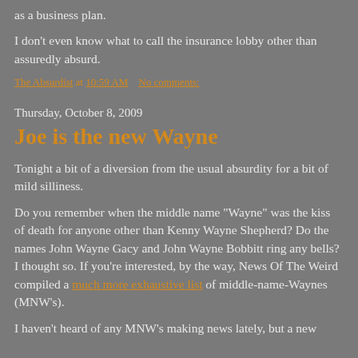as a business plan.
I don't even know what to call the insurance lobby other than assuredly absurd.
The Absurdist at 10:59 AM   No comments:
Thursday, October 8, 2009
Joe is the new Wayne
Tonight a bit of a diversion from the usual absurdity for a bit of mild silliness.
Do you remember when the middle name "Wayne" was the kiss of death for anyone other than Kenny Wayne Shepherd? Do the names John Wayne Gacy and John Wayne Bobbitt ring any bells?  I thought so. If you're interested, by the way, News Of The Weird compiled a much more exhaustive list of middle-name-Waynes (MNW's).
I haven't heard of any MNW's making news lately, but a new